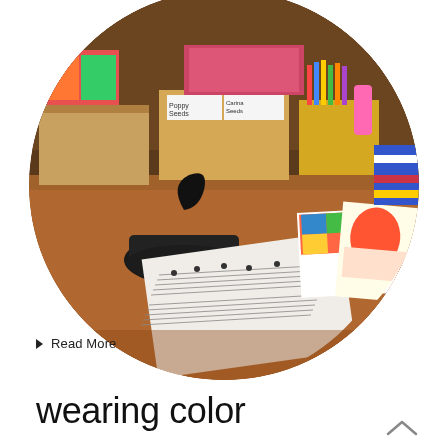[Figure (photo): A circular cropped photo showing a craft/art studio table with an old black iron, sheets of music paper, colorful art cards, boxes of craft supplies including markers and seeds, on a wooden table surface in a shop setting.]
▶ Read More
wearing color